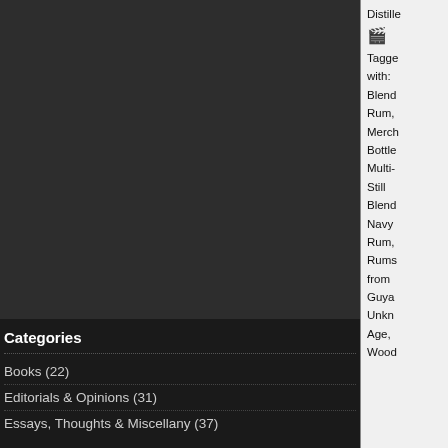Distille Tagged with: Blend Rum, Merch Bottle Multi-Still Blend Navy Rum, Rums from Guya Unkn Age, Wood
Categories
Books (22)
Editorials & Opinions (31)
Essays, Thoughts & Miscellany (37)